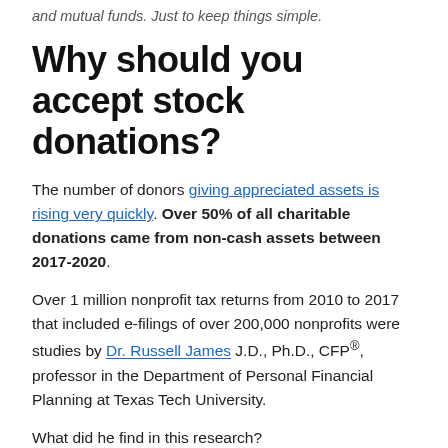and mutual funds. Just to keep things simple.
Why should you accept stock donations?
The number of donors giving appreciated assets is rising very quickly. Over 50% of all charitable donations came from non-cash assets between 2017-2020.
Over 1 million nonprofit tax returns from 2010 to 2017 that included e-filings of over 200,000 nonprofits were studies by Dr. Russell James J.D., Ph.D., CFP®, professor in the Department of Personal Financial Planning at Texas Tech University.
What did he find in this research?
Nonprofits who received only cash gifts = achieved